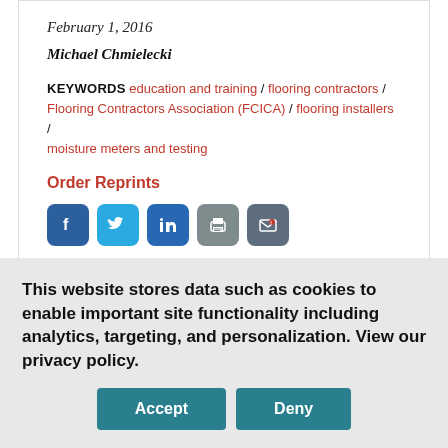February 1, 2016
Michael Chmielecki
KEYWORDS education and training / flooring contractors / Flooring Contractors Association (FCICA) / flooring installers / moisture meters and testing
Order Reprints
[Figure (other): Social share buttons: Facebook, Twitter, LinkedIn, Print, Email]
No Comments
FCICA (the Flooring Contractors Association)
This website stores data such as cookies to enable important site functionality including analytics, targeting, and personalization. View our privacy policy.
Accept  Deny